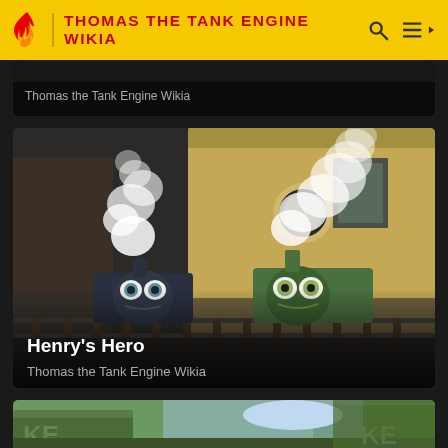THOMAS THE TANK ENGINE WIKIA
[Figure (screenshot): Partial top card showing dark scene with text 'Thomas the Tank Engine Wikia']
[Figure (photo): Two animated CGI trains (Henry and another green engine) at a station platform with steam rising, brick building in background. Title: Henry's Hero. Site: Thomas the Tank Engine Wikia]
Henry's Hero
Thomas the Tank Engine Wikia
[Figure (screenshot): Partial bottom card showing green train engine close-up with trees in background, letters KE visible on side]